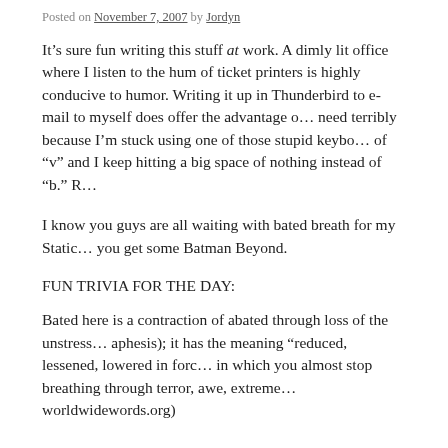Posted on November 7, 2007 by Jordyn
It’s sure fun writing this stuff at work. A dimly lit office where I listen to the hum of ticket printers is highly conducive to humor. Writing it up in Thunderbird to e-mail to myself does offer the advantage of… I need terribly because I’m stuck using one of those stupid keyboards where the key to the left of “v” and I keep hitting a big space of nothing instead of “b.” R…
I know you guys are all waiting with bated breath for my Static… you get some Batman Beyond.
FUN TRIVIA FOR THE DAY:
Bated here is a contraction of abated through loss of the unstress… aphesis); it has the meaning “reduced, lessened, lowered in forc… in which you almost stop breathing through terror, awe, extreme… worldwidewords.org)